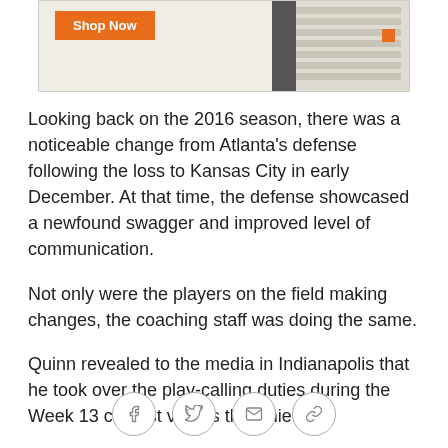[Figure (other): Advertisement banner with orange 'Shop Now' button and window blinds image on the right side]
Looking back on the 2016 season, there was a noticeable change from Atlanta's defense following the loss to Kansas City in early December. At that time, the defense showcased a newfound swagger and improved level of communication.
Not only were the players on the field making changes, the coaching staff was doing the same.
Quinn revealed to the media in Indianapolis that he took over the play-calling duties during the Week 13 contest versus the Chiefs.
"From that point on, I had called the defense," Quinn said. "Certainly, it's true that we collaborate in the
Social share icons: Facebook, Twitter, Email, Link